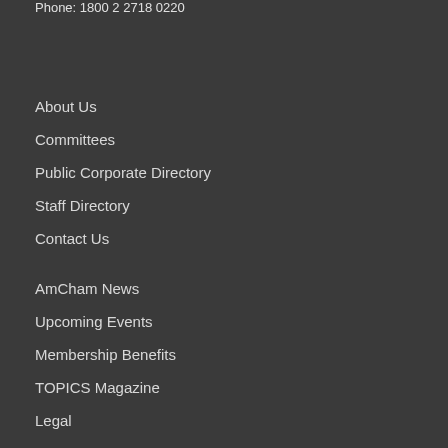Phone: 1800 2 2718 0220
About Us
Committees
Public Corporate Directory
Staff Directory
Contact Us
AmCham News
Upcoming Events
Membership Benefits
TOPICS Magazine
Legal